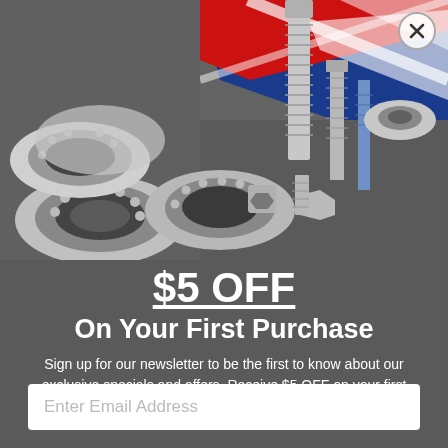[Figure (photo): Photograph of industrial metal parts including ball bearings, bolts, screws, and shaft collars arranged on a dark background with an Australian flag in the background]
$5 OFF
On Your First Purchase
Sign up for our newsletter to be the first to know about our exclusive specials and offers. Receive $5 OFF on your first purchase online.
Enter Email Address